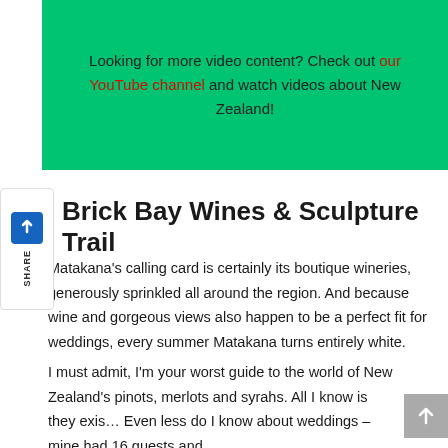Looking for more video content? Check out our YouTube channel and watch videos about New Zealand!
Brick Bay Wines & Sculpture Trail
Matakana's calling card is certainly its boutique wineries, generously sprinkled all around the region. And because wine and gorgeous views also happen to be a perfect fit for weddings, every summer Matakana turns entirely white.
I must admit, I'm your worst guide to the world of New Zealand's pinots, merlots and syrahs. All I know is they exist. Even less do I know about weddings – mine had 16 guests and